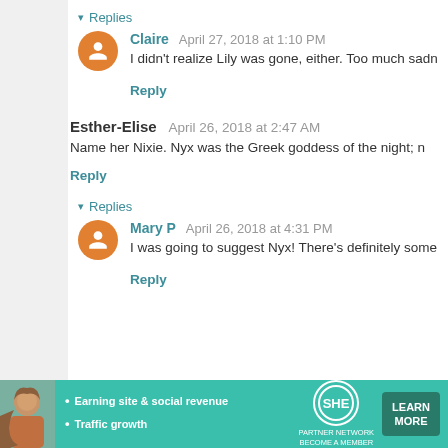▾ Replies
Claire  April 27, 2018 at 1:10 PM
I didn't realize Lily was gone, either. Too much sadn
Reply
Esther-Elise  April 26, 2018 at 2:47 AM
Name her Nixie. Nyx was the Greek goddess of the night; n
Reply
▾ Replies
Mary P  April 26, 2018 at 4:31 PM
I was going to suggest Nyx! There's definitely some
Reply
[Figure (infographic): SHE Partner Network advertisement banner with woman photo, bullet points 'Earning site & social revenue' and 'Traffic growth', SHE logo circle, PARTNER NETWORK BECOME A MEMBER text, and LEARN MORE button]